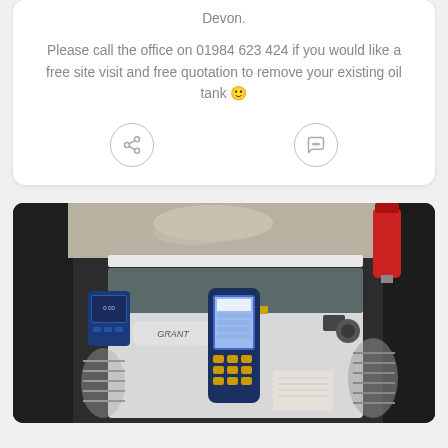Devon.

Please call the office on 01984 623 424 if you would like a free site visit and free quotation to remove your existing oil tank 🙂
[Figure (photo): Indoor photo of a Grant brand oil boiler unit inside a cupboard or utility space, with a handheld diagnostic device placed on top of it, and a blue electronic meter on the left side. A red fire extinguisher is visible in the upper right corner.]